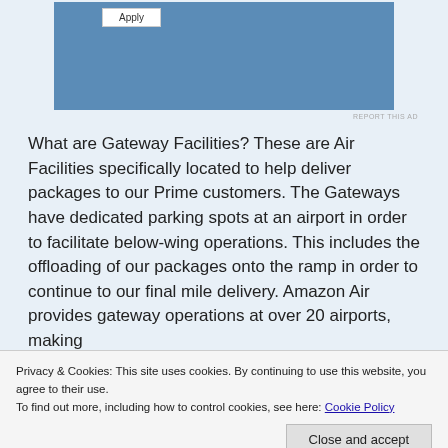[Figure (other): Blue advertisement box with an Apply button at the top]
REPORT THIS AD
What are Gateway Facilities? These are Air Facilities specifically located to help deliver packages to our Prime customers. The Gateways have dedicated parking spots at an airport in order to facilitate below-wing operations. This includes the offloading of our packages onto the ramp in order to continue to our final mile delivery. Amazon Air provides gateway operations at over 20 airports, making
Privacy & Cookies: This site uses cookies. By continuing to use this website, you agree to their use.
To find out more, including how to control cookies, see here: Cookie Policy
Close and accept